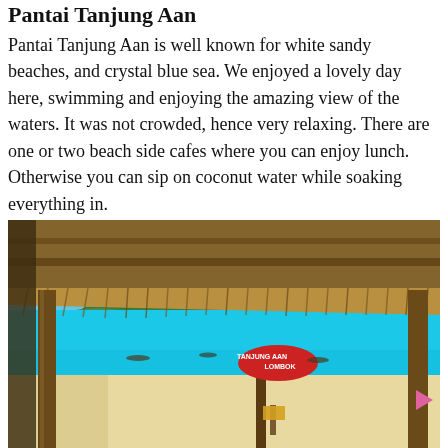Pantai Tanjung Aan
Pantai Tanjung Aan is well known for white sandy beaches, and crystal blue sea. We enjoyed a lovely day here, swimming and enjoying the amazing view of the waters. It was not crowded, hence very relaxing. There are one or two beach side cafes where you can enjoy lunch. Otherwise you can sip on coconut water while soaking everything in.
[Figure (photo): View from inside a thatched-roof beach hut looking out over a white sandy beach and vivid turquoise-blue sea, with green hills in the background. A red surf-board-style sign reading 'TANJUNG AAN LOMBOK' is visible in the middle distance, along with wooden posts supporting the hut roof.]